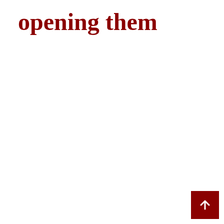opening them
[Figure (other): Dark red square button with a white upward-pointing arrow, positioned at bottom-right corner of the page.]